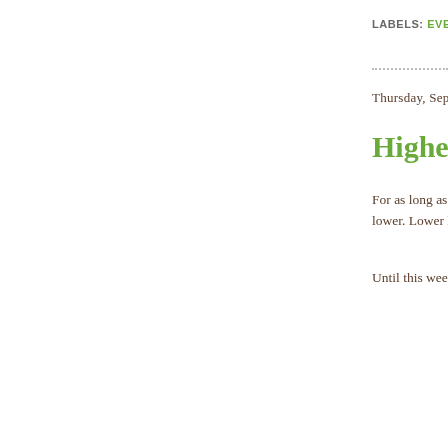LABELS: EVEN
Thursday, Septem
Higher is
For as long as I lower. Lower h
Until this week.